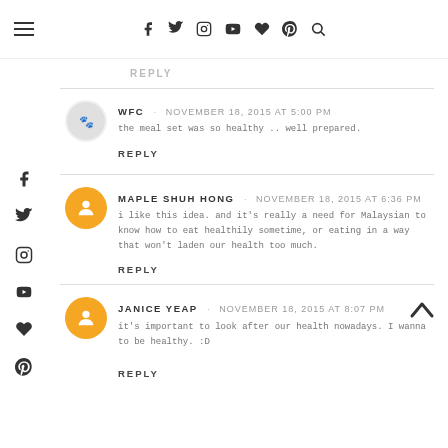hamburger menu | social icons: facebook, twitter, instagram, youtube, heart, pinterest, search
REPLY
WFC · NOVEMBER 18, 2015 AT 5:00 PM
the meal set was so healthy .. well prepared.
REPLY
MAPLE SHUH HONG · NOVEMBER 18, 2015 AT 6:36 PM
i like this idea. and it's really a need for Malaysian to know how to eat healthily sometime, or eating in a way that won't laden our health too much.
REPLY
JANICE YEAP · NOVEMBER 18, 2015 AT 8:07 PM
it's important to look after our health nowadays. I wanna to be healthy. :D
REPLY